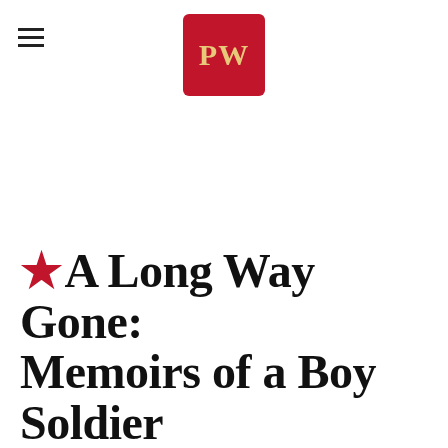PW (Publishers Weekly logo)
★A Long Way Gone: Memoirs of a Boy Soldier